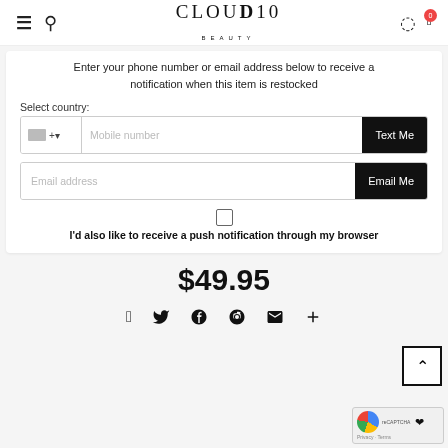CLOUD10 BEAUTY
Enter your phone number or email address below to receive a notification when this item is restocked
Select country:
Mobile number
Text Me
Email address
Email Me
I'd also like to receive a push notification through my browser
$49.95